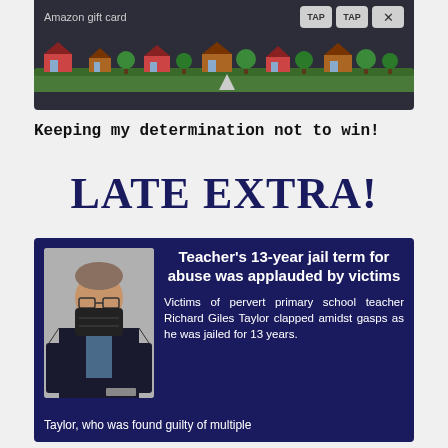[Figure (screenshot): Screenshot of a mobile game or app showing 'Amazon gift card' text, TAP buttons, and a colorful scenery strip with houses and trees on dark background]
Keeping my determination not to win!
LATE EXTRA!
[Figure (infographic): Dark navy news card with photo of man in suit wearing black face mask, headline 'Teacher's 13-year jail term for abuse was applauded by victims', and body text about Richard Giles Taylor being jailed for 13 years]
Taylor, who was found guilty of multiple